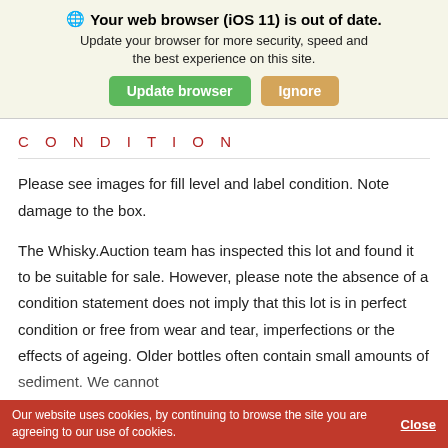[Figure (screenshot): Browser update notification banner: '🌐 Your web browser (iOS 11) is out of date. Update your browser for more security, speed and the best experience on this site.' with green 'Update browser' button and tan 'Ignore' button.]
CONDITION
Please see images for fill level and label condition. Note damage to the box.
The Whisky.Auction team has inspected this lot and found it to be suitable for sale. However, please note the absence of a condition statement does not imply that this lot is in perfect condition or free from wear and tear, imperfections or the effects of ageing. Older bottles often contain small amounts of sediment. We cannot guarantee that the contents of this bottle will be free from the effects of age, cork taint, oxidation or other
Our website uses cookies, by continuing to browse the site you are agreeing to our use of cookies.